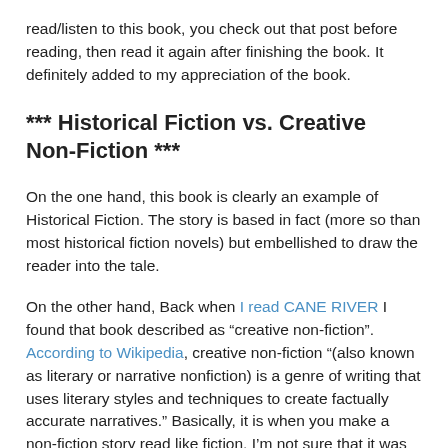read/listen to this book, you check out that post before reading, then read it again after finishing the book. It definitely added to my appreciation of the book.
*** Historical Fiction vs. Creative Non-Fiction ***
On the one hand, this book is clearly an example of Historical Fiction. The story is based in fact (more so than most historical fiction novels) but embellished to draw the reader into the tale.
On the other hand, Back when I read CANE RIVER I found that book described as “creative non-fiction”. According to Wikipedia, creative non-fiction “(also known as literary or narrative nonfiction) is a genre of writing that uses literary styles and techniques to create factually accurate narratives.” Basically, it is when you make a non-fiction story read like fiction. I’m not sure that it was an accurate description of CANE RIVER, but if it was, then it is an